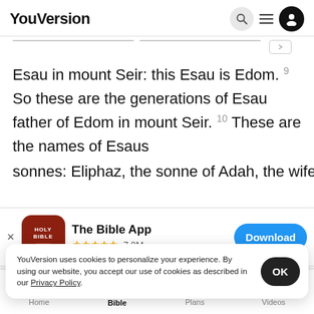YouVersion
Esau in mount Seir: this Esau is Edom. 9 So these are the generations of Esau father of Edom in mount Seir. 10 These are the names of Esaus sonnes: Eliphaz, the sonne of Adah, the wife of
[Figure (screenshot): The Bible App download banner with Holy Bible app icon, 5-star rating 7.9M reviews, and Download button]
Omar, Z
Timna w
YouVersion uses cookies to personalize your experience. By using our website, you accept our use of cookies as described in our Privacy Policy.
Home  Bible  Plans  Videos